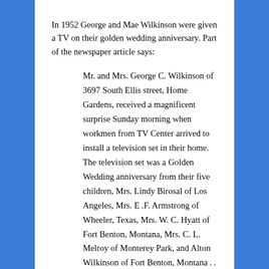In 1952 George and Mae Wilkinson were given a TV on their golden wedding anniversary. Part of the newspaper article says:
Mr. and Mrs. George C. Wilkinson of 3697 South Ellis street, Home Gardens, received a magnificent surprise Sunday morning when workmen from TV Center arrived to install a television set in their home. The television set was a Golden Wedding anniversary from their five children, Mrs. Lindy Birosal of Los Angeles, Mrs. E .F. Armstrong of Wheeler, Texas, Mrs. W. C. Hyatt of Fort Benton, Montana, Mrs. C. L. Melroy of Monterey Park, and Alton Wilkinson of Fort Benton, Montana . . .  Mr. and Mrs. Wilkinson were married Jan. 21, 1902, in Mountain View Oklahoma. . . .  They came to California from Wheeler, in the panhandle of Texas, 15 years ago. They lived in Paradise and Elsinore before coming to Home Gardens which has been their home the past four years. Mr.